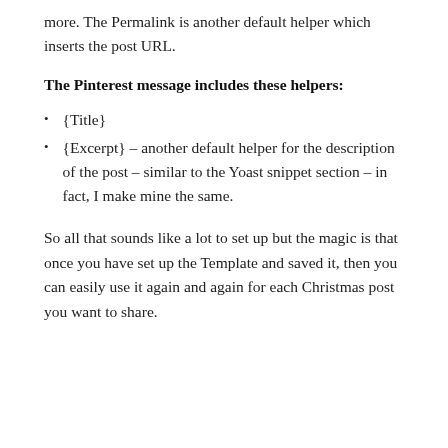more. The Permalink is another default helper which inserts the post URL.
The Pinterest message includes these helpers:
{Title}
{Excerpt} – another default helper for the description of the post – similar to the Yoast snippet section – in fact, I make mine the same.
So all that sounds like a lot to set up but the magic is that once you have set up the Template and saved it, then you can easily use it again and again for each Christmas post you want to share.